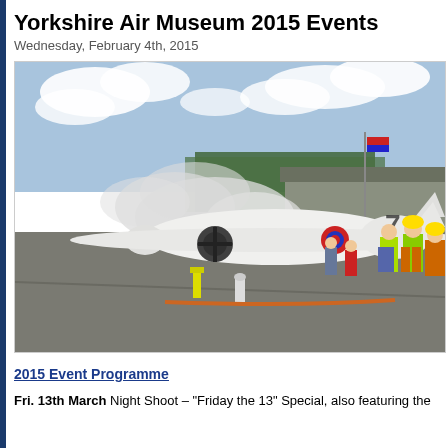Yorkshire Air Museum 2015 Events
Wednesday, February 4th, 2015
[Figure (photo): A white twin-propeller aircraft on an airfield apron with smoke around its engines, people in high-visibility jackets watching on the right, trees and buildings in the background, blue sky with clouds above.]
2015 Event Programme
Fri. 13th March Night Shoot – "Friday the 13" Special, also featuring the